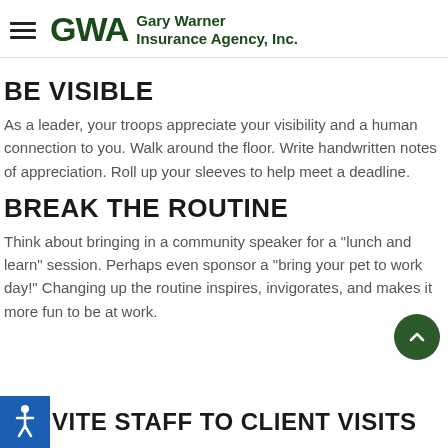GWA Gary Warner Insurance Agency, Inc.
BE VISIBLE
As a leader, your troops appreciate your visibility and a human connection to you. Walk around the floor. Write handwritten notes of appreciation. Roll up your sleeves to help meet a deadline.
BREAK THE ROUTINE
Think about bringing in a community speaker for a "lunch and learn" session. Perhaps even sponsor a "bring your pet to work day!" Changing up the routine inspires, invigorates, and makes it more fun to be at work.
INVITE STAFF TO CLIENT VISITS